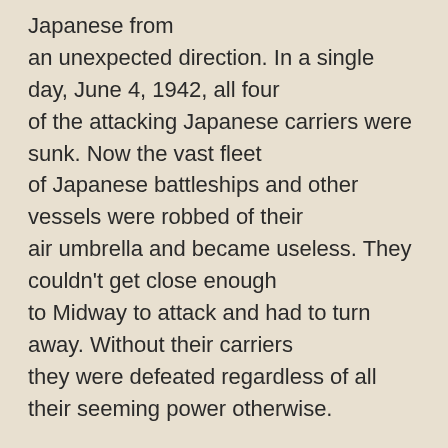Japanese from an unexpected direction. In a single day, June 4, 1942, all four of the attacking Japanese carriers were sunk. Now the vast fleet of Japanese battleships and other vessels were robbed of their air umbrella and became useless. They couldn't get close enough to Midway to attack and had to turn away. Without their carriers they were defeated regardless of all their seeming power otherwise.
The Battle of Midway was the turning point of the Pacific War. It came only six months after Pearl Harbor, and the war continued with great loss of life on both sides for more than three years afterward. But with the Battle of Midway, the ultimate outcome of the war between Japan and the United States became